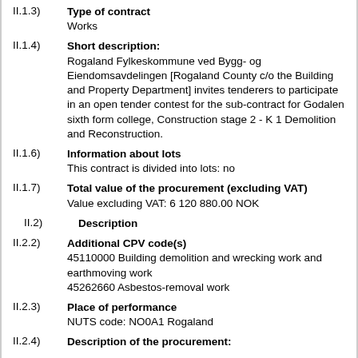II.1.3) Type of contract
Works
II.1.4) Short description:
Rogaland Fylkeskommune ved Bygg- og Eiendomsavdelingen [Rogaland County c/o the Building and Property Department] invites tenderers to participate in an open tender contest for the sub-contract for Godalen sixth form college, Construction stage 2 - K 1 Demolition and Reconstruction.
II.1.6) Information about lots
This contract is divided into lots: no
II.1.7) Total value of the procurement (excluding VAT)
Value excluding VAT: 6 120 880.00 NOK
II.2) Description
II.2.2) Additional CPV code(s)
45110000 Building demolition and wrecking work and earthmoving work
45262660 Asbestos-removal work
II.2.3) Place of performance
NUTS code: NO0A1 Rogaland
II.2.4) Description of the procurement: